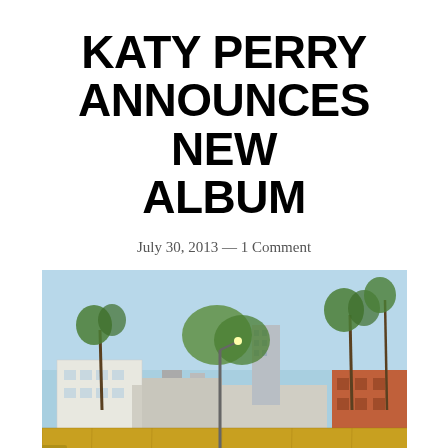KATY PERRY ANNOUNCES NEW ALBUM
July 30, 2013 — 1 Comment
[Figure (photo): A large yellow semi-truck/trailer driving on a street in Los Angeles with text painted on it reading 'KATY PERRY · PRISM · 10.22.13'. Buildings and palm trees are visible in the background under a blue sky.]